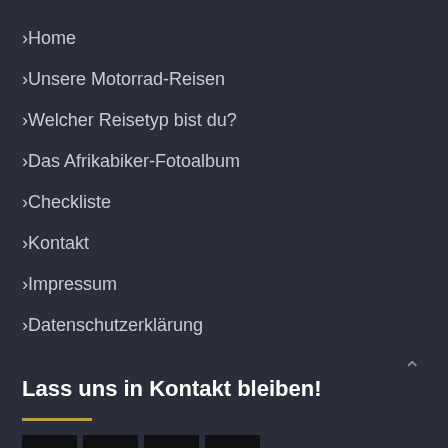> Home
> Unsere Motorrad-Reisen
> Welcher Reisetyp bist du?
> Das Afrikabiker-Fotoalbum
> Checkliste
> Kontakt
> Impressum
> Datenschutzerklärung
Lass uns in Kontakt bleiben!
[Figure (other): Social media icons row: Facebook, Twitter, Instagram, YouTube]